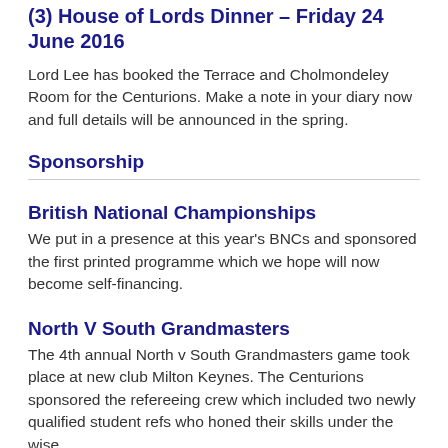(3) House of Lords Dinner – Friday 24 June 2016
Lord Lee has booked the Terrace and Cholmondeley Room for the Centurions. Make a note in your diary now and full details will be announced in the spring.
Sponsorship
British National Championships
We put in a presence at this year's BNCs and sponsored the first printed programme which we hope will now become self-financing.
North V South Grandmasters
The 4th annual North v South Grandmasters game took place at new club Milton Keynes. The Centurions sponsored the refereeing crew which included two newly qualified student refs who honed their skills under the wise